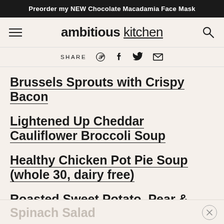Preorder my NEW Chocolate Macadamia Face Mask
ambitious kitchen
SHARE
Brussels Sprouts with Crispy Bacon
Lightened Up Cheddar Cauliflower Broccoli Soup
Healthy Chicken Pot Pie Soup (whole 30, dairy free)
Roasted Sweet Potato, Pear & Pomegranate
Spinach Salad